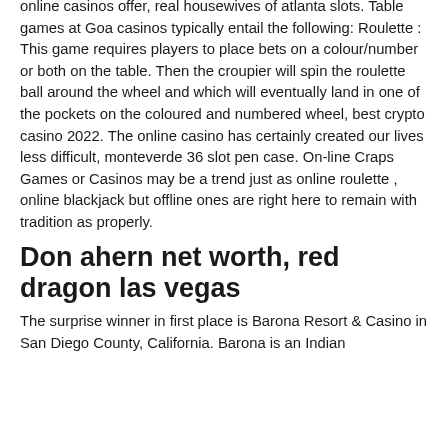online casinos offer, real housewives of atlanta slots. Table games at Goa casinos typically entail the following: Roulette : This game requires players to place bets on a colour/number or both on the table. Then the croupier will spin the roulette ball around the wheel and which will eventually land in one of the pockets on the coloured and numbered wheel, best crypto casino 2022. The online casino has certainly created our lives less difficult, monteverde 36 slot pen case. On-line Craps Games or Casinos may be a trend just as online roulette , online blackjack but offline ones are right here to remain with tradition as properly.
Don ahern net worth, red dragon las vegas
The surprise winner in first place is Barona Resort & Casino in San Diego County, California. Barona is an Indian